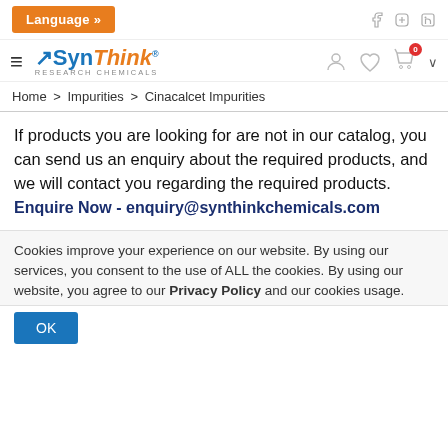Language »
[Figure (logo): SynThink Research Chemicals logo with hamburger menu]
Home > Impurities > Cinacalcet Impurities
If products you are looking for are not in our catalog, you can send us an enquiry about the required products, and we will contact you regarding the required products. Enquire Now - enquiry@synthinkchemicals.com
Cookies improve your experience on our website. By using our services, you consent to the use of ALL the cookies. By using our website, you agree to our Privacy Policy and our cookies usage.
OK